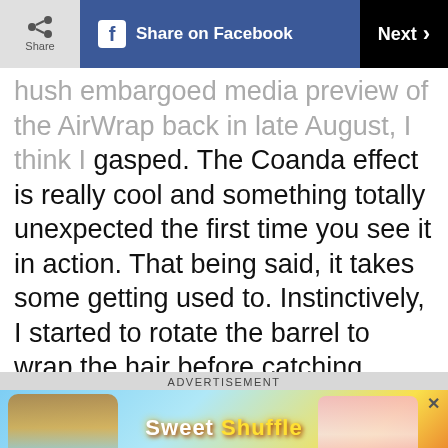Share | Share on Facebook | Next >
hush embargoed media preview of the AirWrap back in late August, I think I gasped. The Coanda effect is really cool and something totally unexpected the first time you see it in action. That being said, it takes some getting used to. Instinctively, I started to rotate the barrel to wrap the hair before catching myself. The waves I achieved admittedly need work so it's not a foolproof tool, but I think once I get the hang of it, it has the potential to replace pretty much every other styling tool in my bathroom cabinet.
ADVERTISEMENT
[Figure (photo): Sweet Shuffle mobile game advertisement banner with colorful candy graphics]